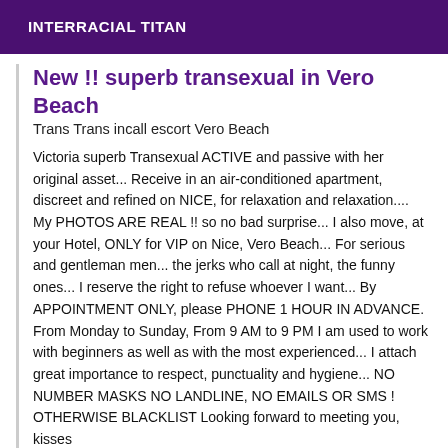INTERRACIAL TITAN
New !! superb transexual in Vero Beach
Trans Trans incall escort Vero Beach
Victoria superb Transexual ACTIVE and passive with her original asset... Receive in an air-conditioned apartment, discreet and refined on NICE, for relaxation and relaxation.... My PHOTOS ARE REAL !! so no bad surprise... I also move, at your Hotel, ONLY for VIP on Nice, Vero Beach... For serious and gentleman men... the jerks who call at night, the funny ones... I reserve the right to refuse whoever I want... By APPOINTMENT ONLY, please PHONE 1 HOUR IN ADVANCE. From Monday to Sunday, From 9 AM to 9 PM I am used to work with beginners as well as with the most experienced... I attach great importance to respect, punctuality and hygiene... NO NUMBER MASKS NO LANDLINE, NO EMAILS OR SMS ! OTHERWISE BLACKLIST Looking forward to meeting you, kisses